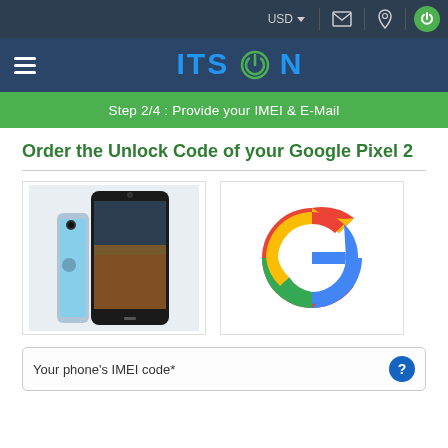USD
[Figure (logo): ITSON logo with blue text and green power button icon]
Step 2/4 : Provide your IMEI & E-Mail
Order the Unlock Code of your Google Pixel 2
[Figure (photo): Google Pixel 2 smartphone in blue color]
[Figure (logo): Google 'G' logo in red, yellow, green, blue colors]
Your phone's IMEI code*